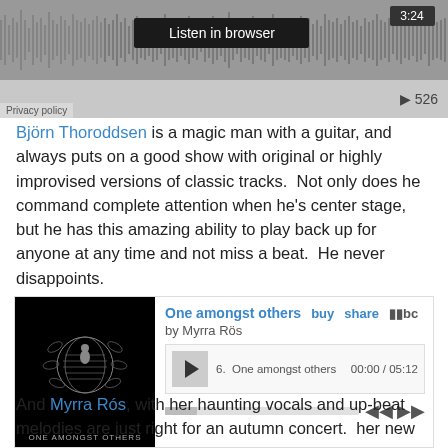[Figure (screenshot): Audio player widget showing 'Listen in browser' button, waveform, time 3:24, Privacy policy link, play button and counter 526]
Björn Thoroddsen is a magic man with a guitar, and always puts on a good show with original or highly improvised versions of classic tracks.  Not only does he command complete attention when he's center stage, but he has this amazing ability to play back up for anyone at any time and not miss a beat.  He never disappoints.
[Figure (screenshot): Bandcamp music player widget for 'One amongst others' by Myrra Rós. Track 6 - One amongst others, duration 00:00 / 05:12. Album art shows ONE AMONGST OTHERS on black background with illustration.]
And Myrra Rós, with her haunting vocals and up-beat melodies are just right for an autumn concert.  her new